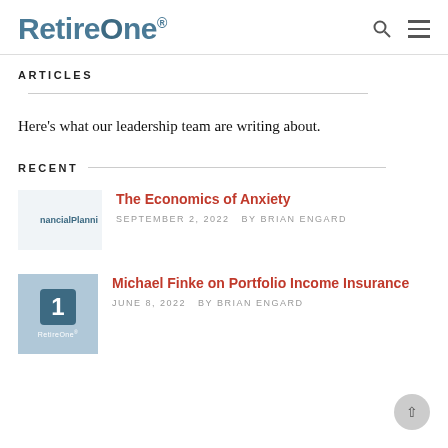RetireOne
ARTICLES
Here's what our leadership team are writing about.
RECENT
The Economics of Anxiety
SEPTEMBER 2, 2022   BY BRIAN ENGARD
Michael Finke on Portfolio Income Insurance
JUNE 8, 2022   BY BRIAN ENGARD